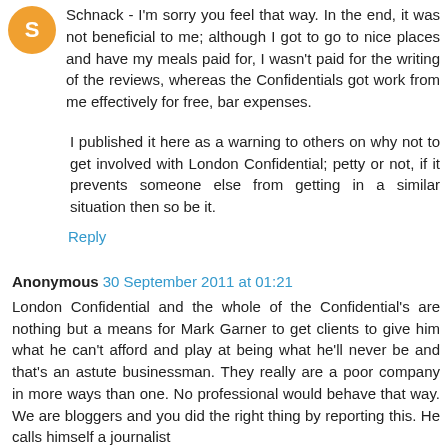Schnack - I'm sorry you feel that way. In the end, it was not beneficial to me; although I got to go to nice places and have my meals paid for, I wasn't paid for the writing of the reviews, whereas the Confidentials got work from me effectively for free, bar expenses.
I published it here as a warning to others on why not to get involved with London Confidential; petty or not, if it prevents someone else from getting in a similar situation then so be it.
Reply
Anonymous 30 September 2011 at 01:21
London Confidential and the whole of the Confidential's are nothing but a means for Mark Garner to get clients to give him what he can't afford and play at being what he'll never be and that's an astute businessman. They really are a poor company in more ways than one. No professional would behave that way. We are bloggers and you did the right thing by reporting this. He calls himself a journalist and...